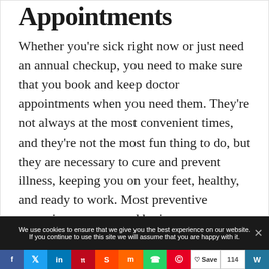Appointments
Whether you're sick right now or just need an annual checkup, you need to make sure that you book and keep doctor appointments when you need them. They're not always at the most convenient times, and they're not the most fun thing to do, but they are necessary to cure and prevent illness, keeping you on your feet, healthy, and ready to work. Most preventive screenings are covered by insurance.
We use cookies to ensure that we give you the best experience on our website. If you continue to use this site we will assume that you are happy with it.